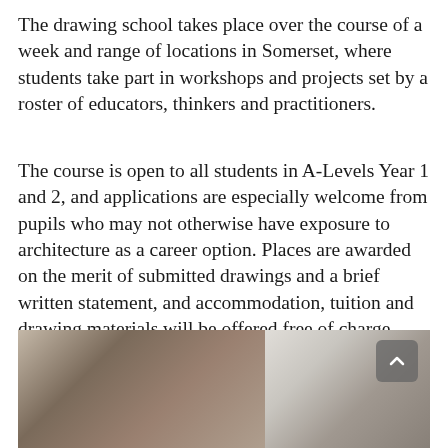The drawing school takes place over the course of a week and range of locations in Somerset, where students take part in workshops and projects set by a roster of educators, thinkers and practitioners.
The course is open to all students in A-Levels Year 1 and 2, and applications are especially welcome from pupils who may not otherwise have exposure to architecture as a career option. Places are awarded on the merit of submitted drawings and a brief written statement, and accommodation, tuition and drawing materials will be offered free of charge. The deadline for applications is 28 May 2021.
[Figure (photo): Photograph of an architectural or workshop space with wooden beams and structures visible, and a blurred outdoor scene with people and arched elements on the right side.]